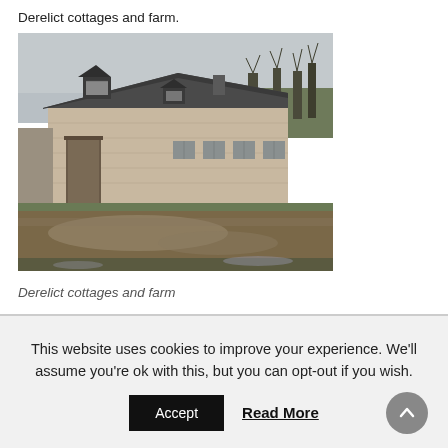Derelict cottages and farm.
[Figure (photo): Photograph of derelict stone cottages and a farm building with a slate roof, broken dormer window, muddy flooded foreground, bare trees in background, overcast sky.]
Derelict cottages and farm
This website uses cookies to improve your experience. We'll assume you're ok with this, but you can opt-out if you wish.
Accept  Read More